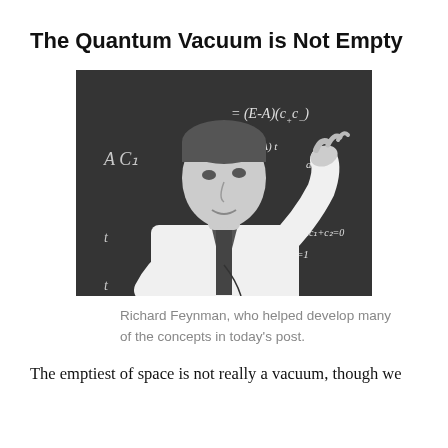The Quantum Vacuum is Not Empty
[Figure (photo): Black and white photograph of Richard Feynman standing in front of a chalkboard covered with physics equations, gesturing with his hands while teaching.]
Richard Feynman, who helped develop many of the concepts in today's post.
The emptiest of space is not really a vacuum, though we